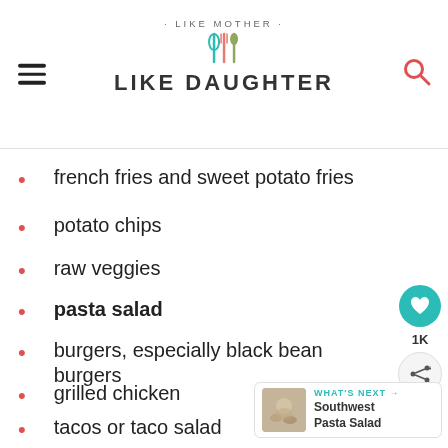· LIKE MOTHER · LIKE DAUGHTER
french fries and sweet potato fries
potato chips
raw veggies
pasta salad
burgers, especially black bean burgers
grilled chicken
tacos or taco salad
1K
WHAT'S NEXT → Southwest Pasta Salad